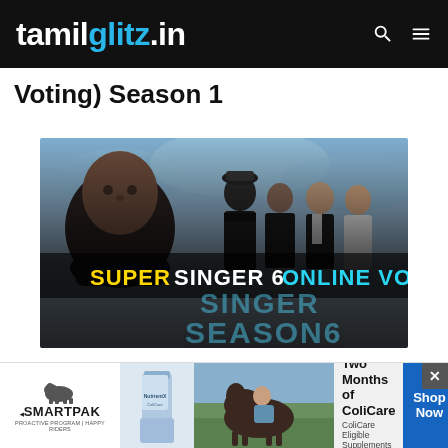tamilglitz.in
(Voting) Season 1
[Figure (photo): Super Singer Season 6 Online Voting promotional image featuring AR Rahman and other judges/contestants with text overlay reading 'SUPER SINGER 6 ONLINE VOTING' and 'SINGER SEASON6']
Super Singer Vote 8 – Online Voting –
[Figure (infographic): SmartPak advertisement banner: 50% Off Two Months of ColiCare, ColiCare Eligible Supplements, CODE: COLICARE10, Shop Now button]